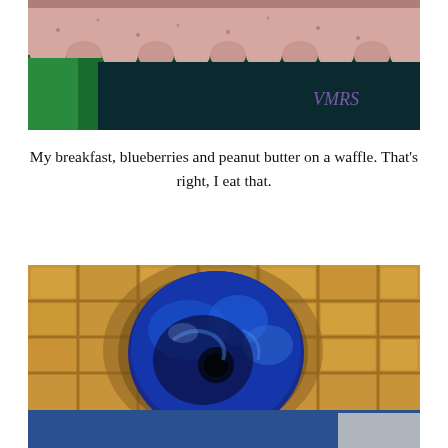[Figure (illustration): Close-up painting of a pink/white scalloped or waffle edge against a dark green and teal background, with initials 'VMRS' written in purple in the lower right.]
My breakfast, blueberries and peanut butter on a waffle. That's right, I eat that.
[Figure (illustration): Close-up oil painting of a large blueberry resting in an indentation of a golden-brown waffle, with a dark blue and navy berry showing swirling brushstrokes and a dark center dimple.]